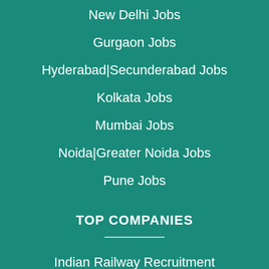New Delhi Jobs
Gurgaon Jobs
Hyderabad|Secunderabad Jobs
Kolkata Jobs
Mumbai Jobs
Noida|Greater Noida Jobs
Pune Jobs
TOP COMPANIES
Indian Railway Recruitment